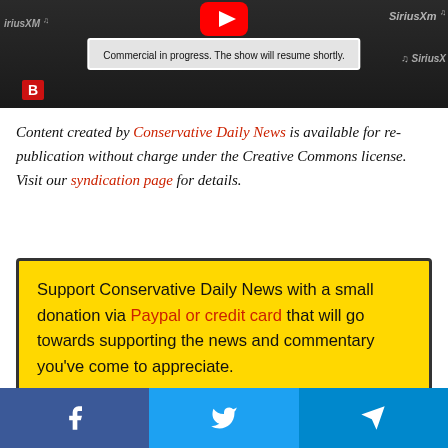[Figure (screenshot): Video screenshot showing a SiriusXM broadcast with a 'Commercial in progress. The show will resume shortly.' banner overlay and a YouTube play button icon visible at top. A red 'B' badge visible at bottom left.]
Content created by Conservative Daily News is available for re-publication without charge under the Creative Commons license. Visit our syndication page for details.
Support Conservative Daily News with a small donation via Paypal or credit card that will go towards supporting the news and commentary you've come to appreciate.
[Figure (infographic): Social sharing bar with Facebook, Twitter, and Telegram icons in blue buttons.]